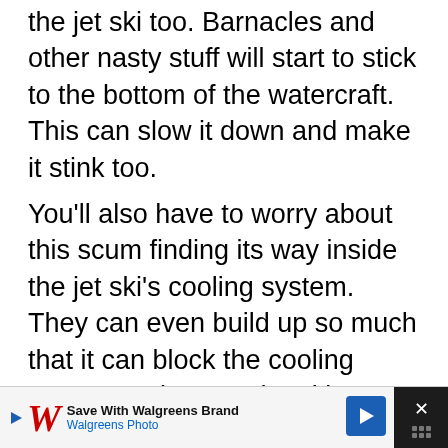the jet ski too. Barnacles and other nasty stuff will start to stick to the bottom of the watercraft. This can slow it down and make it stink too.
You'll also have to worry about this scum finding its way inside the jet ski's cooling system. They can even build up so much that it can block the cooling system and cause the ski to overheat.
One more point, if you have fiberglass damage under your jet ski it's very important to not keep it in the water. Water can get into that damage and expand the fiberglass and make things worse.
[Figure (other): Walgreens advertisement banner: Save With Walgreens Brand / Walgreens Photo, with Walgreens logo and navigation arrow icon]